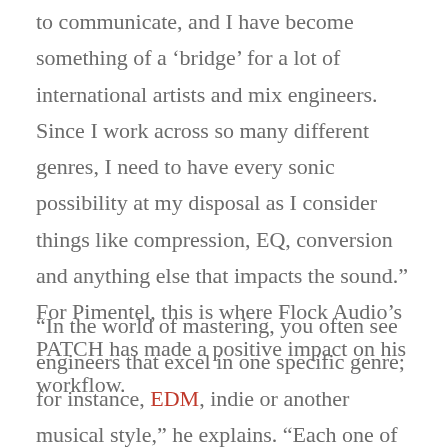to communicate, and I have become something of a ‘bridge’ for a lot of international artists and mix engineers. Since I work across so many different genres, I need to have every sonic possibility at my disposal as I consider things like compression, EQ, conversion and anything else that impacts the sound.” For Pimentel, this is where Flock Audio’s PATCH has made a positive impact on his workflow.
“In the world of mastering, you often see engineers that excel in one specific genre; for instance, EDM, indie or another musical style,” he explains. “Each one of these ‘specialists’ may have different sonic requirements. For instance, an EDM mastering engineer might focus on making something sound louder, while an indie